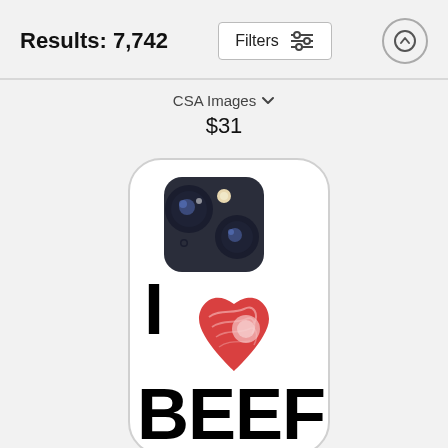Results: 7,742
Filters
CSA Images
$31
[Figure (photo): Phone case product image showing an iPhone case with 'I Love BEEF' design — black text 'I' and 'BEEF' with a red meat-textured heart shape in the center, on a white case background. The phone case shows the rear camera module of an iPhone 13.]